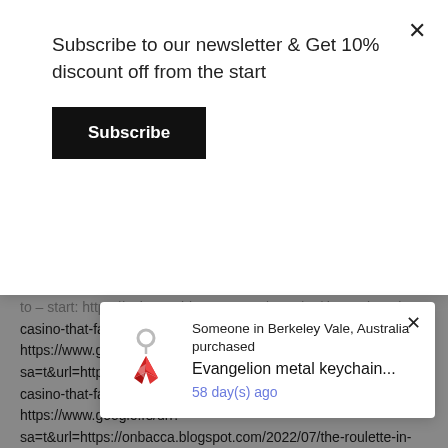Subscribe to our newsletter & Get 10% discount off from the start
Subscribe
casino-that-failed-to.html
https://www.google.ru/url?sa=t&url=https://onbacca.blogspot.com/2022/07/the-roulette-in-casino-that-failed-to.html
https://www.google.rs/url?sa=t&url=https://onbacca.blogspot.com/2022/07/the-roulette-in-casino-that-failed-to.html
https:// ... sa=t& ... n-casino ... https:// ... sa=t&url=https://onbacca.blogspot.com/2022/07/the-roulette-in-
Someone in Berkeley Vale, Australia purchased
Evangelion metal keychain...
58 day(s) ago